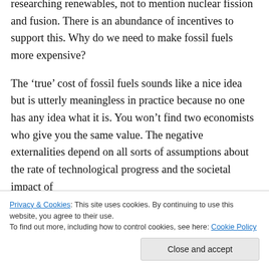researching renewables, not to mention nuclear fission and fusion. There is an abundance of incentives to support this. Why do we need to make fossil fuels more expensive?
The 'true' cost of fossil fuels sounds like a nice idea but is utterly meaningless in practice because no one has any idea what it is. You won't find two economists who give you the same value. The negative externalities depend on all sorts of assumptions about the rate of technological progress and the societal impact of
me as well as my father. And is also a good thing
Privacy & Cookies: This site uses cookies. By continuing to use this website, you agree to their use.
To find out more, including how to control cookies, see here: Cookie Policy